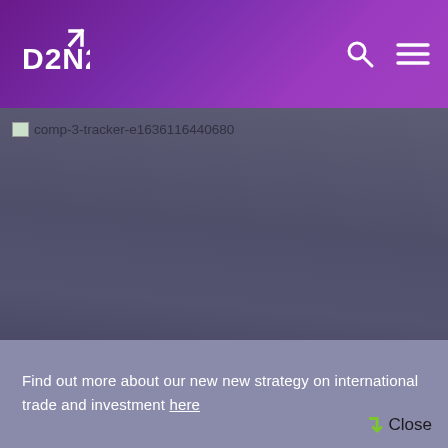D2N2
[Figure (screenshot): Broken image placeholder with alt text 'comp-3-tracker-e1636116440680' on a grey-blue background]
Find out more about our new new strategy on international trade and investment here